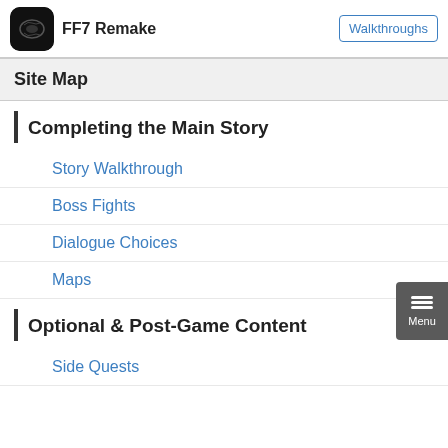FF7 Remake | Walkthroughs
Site Map
Completing the Main Story
Story Walkthrough
Boss Fights
Dialogue Choices
Maps
Optional & Post-Game Content
Side Quests